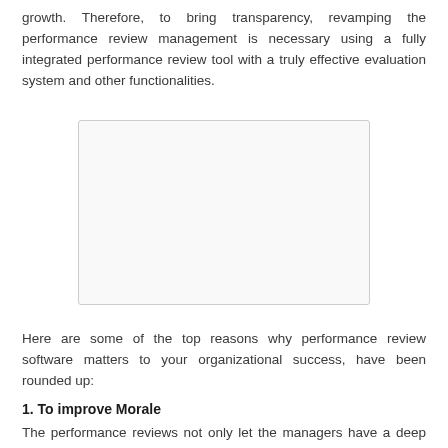growth. Therefore, to bring transparency, revamping the performance review management is necessary using a fully integrated performance review tool with a truly effective evaluation system and other functionalities.
[Figure (other): A blank/placeholder image box with light gray border and light background.]
Here are some of the top reasons why performance review software matters to your organizational success, have been rounded up:
1. To improve Morale
The performance reviews not only let the managers have a deep understanding of actual work performance, also give